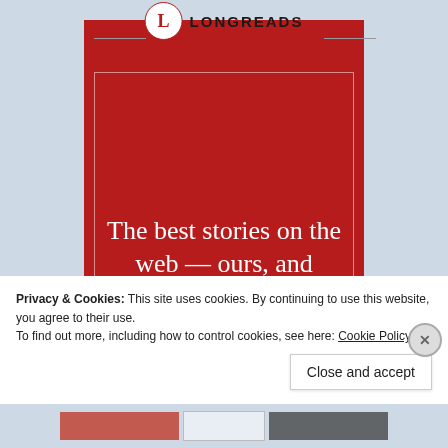[Figure (screenshot): Longreads website screenshot showing a red promotional card with the Longreads logo at the top and the tagline 'The best stories on the web – ours, and everyone' in white serif text on a dark red background, against a light blue page background.]
Privacy & Cookies: This site uses cookies. By continuing to use this website, you agree to their use.
To find out more, including how to control cookies, see here: Cookie Policy
Close and accept